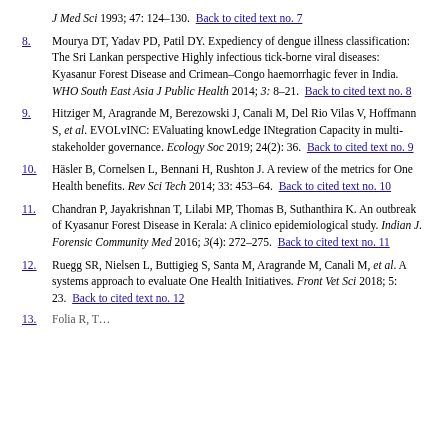J Med Sci 1993; 47: 124–130. Back to cited text no. 7
8. Mourya DT, Yadav PD, Patil DY. Expediency of dengue illness classification: The Sri Lankan perspective Highly infectious tick-borne viral diseases: Kyasanur Forest Disease and Crimean–Congo haemorrhagic fever in India. WHO South East Asia J Public Health 2014; 3: 8–21. Back to cited text no. 8
9. Hitziger M, Aragrande M, Berezowski J, Canali M, Del Rio Vilas V, Hoffmann S, et al. EVOLvINC: EValuating knowLedge INtegration Capacity in multi-stakeholder governance. Ecology Soc 2019; 24(2): 36. Back to cited text no. 9
10. Häsler B, Cornelsen L, Bennani H, Rushton J. A review of the metrics for One Health benefits. Rev Sci Tech 2014; 33: 453–64. Back to cited text no. 10
11. Chandran P, Jayakrishnan T, Lilabi MP, Thomas B, Suthanthira K. An outbreak of Kyasanur Forest Disease in Kerala: A clinico epidemiological study. Indian J. Forensic Community Med 2016; 3(4): 272–275. Back to cited text no. 11
12. Ruegg SR, Nielsen L, Buttigieg S, Santa M, Aragrande M, Canali M, et al. A systems approach to evaluate One Health Initiatives. Front Vet Sci 2018; 5: 23. Back to cited text no. 12